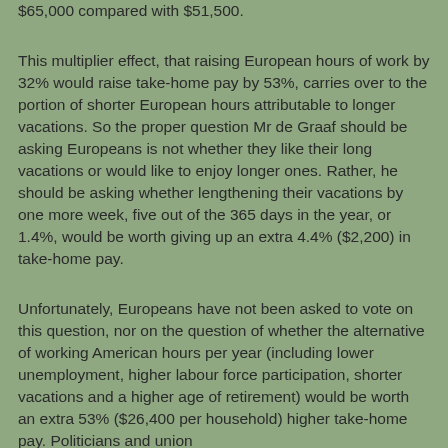$65,000 compared with $51,500.
This multiplier effect, that raising European hours of work by 32% would raise take-home pay by 53%, carries over to the portion of shorter European hours attributable to longer vacations. So the proper question Mr de Graaf should be asking Europeans is not whether they like their long vacations or would like to enjoy longer ones. Rather, he should be asking whether lengthening their vacations by one more week, five out of the 365 days in the year, or 1.4%, would be worth giving up an extra 4.4% ($2,200) in take-home pay.
Unfortunately, Europeans have not been asked to vote on this question, nor on the question of whether the alternative of working American hours per year (including lower unemployment, higher labour force participation, shorter vacations and a higher age of retirement) would be worth an extra 53% ($26,400 per household) higher take-home pay. Politicians and union